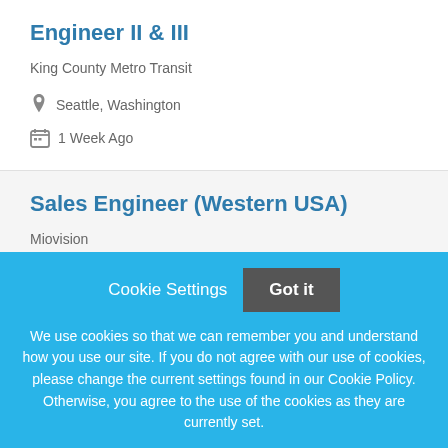Engineer II & III
King County Metro Transit
Seattle, Washington
1 Week Ago
Sales Engineer (Western USA)
Miovision
Nationwide
2 Weeks Ago
Cookie Settings  Got it
We use cookies so that we can remember you and understand how you use our site. If you do not agree with our use of cookies, please change the current settings found in our Cookie Policy. Otherwise, you agree to the use of the cookies as they are currently set.